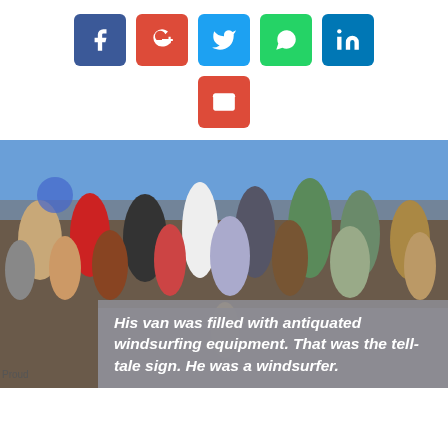[Figure (other): Row of social media share buttons: Facebook (blue), Google+ (red), Twitter (blue), WhatsApp (green), LinkedIn (blue), Email (red)]
[Figure (photo): Group photo of many people on a stage at what appears to be a political convention or celebration event. A gray overlay box in the lower right contains italic white text: 'His van was filled with antiquated windsurfing equipment. That was the tell-tale sign. He was a windsurfer.']
Proud...